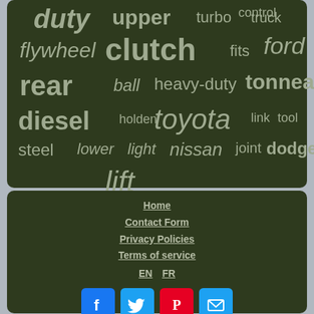[Figure (infographic): Word cloud on dark green background featuring automotive terms: duty, upper, turbo, truck, control, flywheel, clutch, fits, ford, rear, ball, heavy-duty, tonneau, diesel, holden, toyota, link, tool, steel, lower, light, nissan, joint, dodge, lift]
Home
Contact Form
Privacy Policies
Terms of service
EN | FR
[Figure (infographic): Social media icons: Facebook, Twitter, Pinterest, Email]